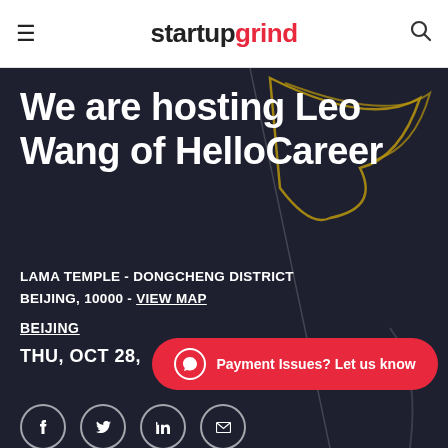startup grind
We are hosting Leo Wang of HelloCareer
LAMA TEMPLE - DONGCHENG DISTRICT BEIJING, 10000 - VIEW MAP
BEIJING
THU, OCT 28,
Payment Issues? Let us know
IN-PERSON EVENT